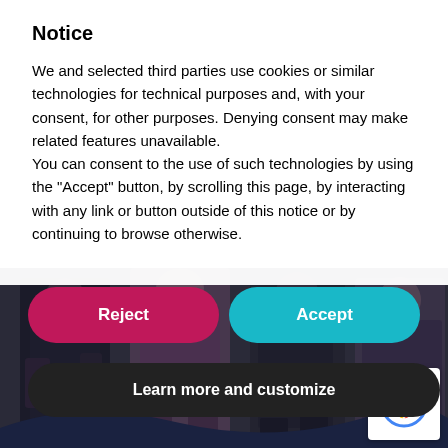Notice
We and selected third parties use cookies or similar technologies for technical purposes and, with your consent, for other purposes. Denying consent may make related features unavailable. You can consent to the use of such technologies by using the “Accept” button, by scrolling this page, by interacting with any link or button outside of this notice or by continuing to browse otherwise.
[Figure (screenshot): Cookie consent dialog with Reject (pink/magenta) and Accept (teal) buttons, and a Learn more and customize (dark/black) button below. Background shows blurred photo of people standing.]